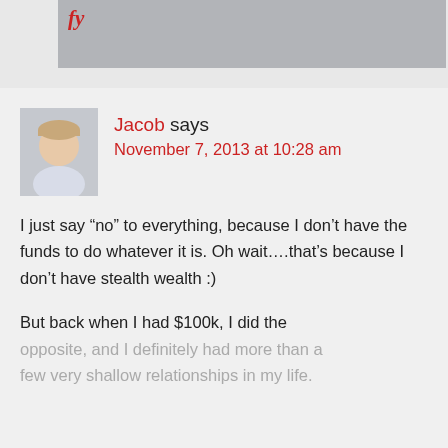[Figure (screenshot): Top portion of a webpage showing a partial image with red italic text visible, cropped at the top of the page]
Jacob says
November 7, 2013 at 10:28 am
I just say “no” to everything, because I don’t have the funds to do whatever it is. Oh wait….that’s because I don’t have stealth wealth :)
But back when I had $100k, I did the opposite, and I definitely had more than a few very shallow relationships in my life.